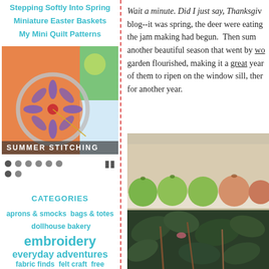Stepping Softly Into Spring
Miniature Easter Baskets
My Mini Quilt Patterns
[Figure (photo): Slideshow image showing embroidery hoop with flower on orange fabric, labeled SUMMER STITCHING]
CATEGORIES
aprons & smocks  bags & totes  dollhouse bakery
embroidery
everyday adventures
fabric finds  felt craft  free
Wait a minute.  Did I just say, Thanksgiving? blog--it was spring, the deer were eating the jam making had begun.  Then summer, another beautiful season that went by wo... garden flourished, making it a great year of them to ripen on the window sill, ther... for another year.
[Figure (photo): Photo of green and orange tomatoes ripening on a window sill, with a plant in foreground]